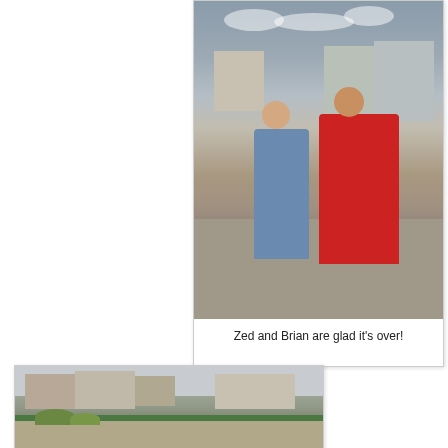[Figure (photo): Two men standing at what appears to be a cycling event finish area near a seafront promenade. One man in a blue shirt with a lanyard, another in a red polo shirt. Bicycles and crowds visible in the background.]
Zed and Brian are glad it's over!
[Figure (photo): A seafront scene showing buildings including what appears to be the Brighton seafront, with a wall or promenade in the foreground and greenery visible.]